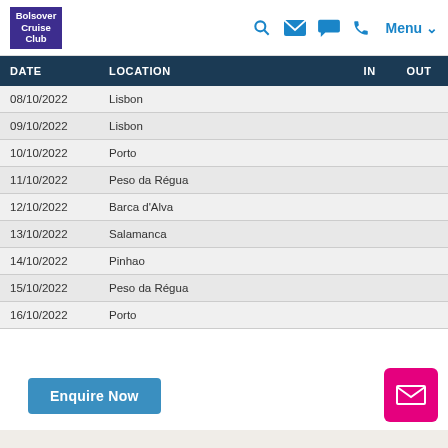Bolsover Cruise Club — Navigation bar with logo, search, mail, chat, phone, and Menu icons
| DATE | LOCATION | IN | OUT |
| --- | --- | --- | --- |
| 08/10/2022 | Lisbon |  |  |
| 09/10/2022 | Lisbon |  |  |
| 10/10/2022 | Porto |  |  |
| 11/10/2022 | Peso da Régua |  |  |
| 12/10/2022 | Barca d'Alva |  |  |
| 13/10/2022 | Salamanca |  |  |
| 14/10/2022 | Pinhao |  |  |
| 15/10/2022 | Peso da Régua |  |  |
| 16/10/2022 | Porto |  |  |